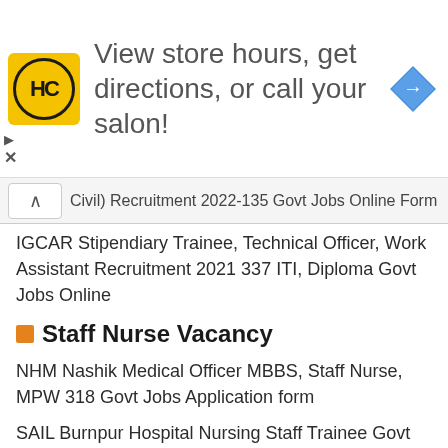[Figure (advertisement): HC salon advertisement banner with yellow logo, text 'View store hours, get directions, or call your salon!' and blue navigation arrow icon]
Civil) Recruitment 2022-135 Govt Jobs Online Form
IGCAR Stipendiary Trainee, Technical Officer, Work Assistant Recruitment 2021 337 ITI, Diploma Govt Jobs Online
Staff Nurse Vacancy
NHM Nashik Medical Officer MBBS, Staff Nurse, MPW 318 Govt Jobs Application form
SAIL Burnpur Hospital Nursing Staff Trainee Govt Jobs Recruitment 2022 Walk in Interview
CMHO Dantewada Staff Nurse, Lab Technician, Cleaner, Lab Attendant, Microbiologist Govt Jobs Recruitment 2020